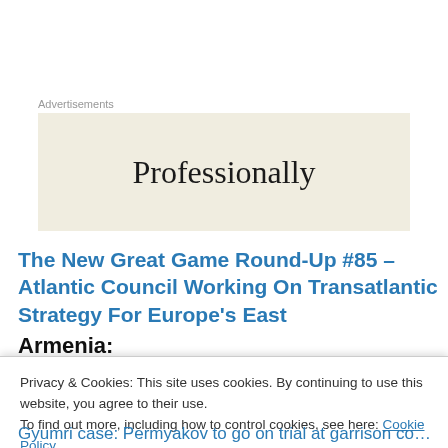Advertisements
[Figure (other): Advertisement box with cream/beige background and the word 'Professionally' in large serif font]
The New Great Game Round-Up #85 – Atlantic Council Working On Transatlantic Strategy For Europe's East
Armenia:
Privacy & Cookies: This site uses cookies. By continuing to use this website, you agree to their use.
To find out more, including how to control cookies, see here: Cookie Policy
Close and accept
Gyumri case: Permyakov to go on trial at garrison court in